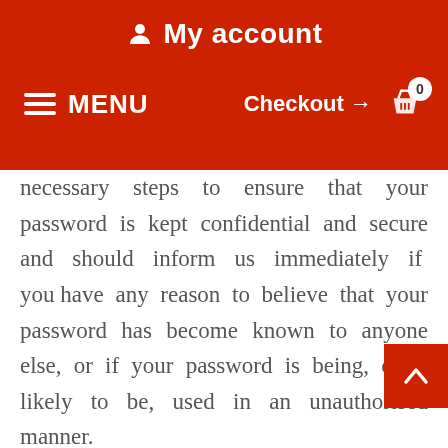My account
MENU   Checkout → 0
necessary steps to ensure that your password is kept confidential and secure and should inform us immediately if you have any reason to believe that your password has become known to anyone else, or if your password is being, or is likely to be, used in an unauthorised manner.
    You must ensure that the details provided by you on registration at the Site or at any time are correct and complete.
    You must inform us immediately of any changes to the information that you